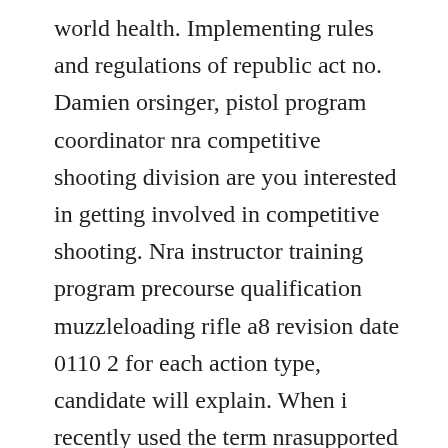world health. Implementing rules and regulations of republic act no. Damien orsinger, pistol program coordinator nra competitive shooting division are you interested in getting involved in competitive shooting. Nra instructor training program precourse qualification muzzleloading rifle a8 revision date 0110 2 for each action type, candidate will explain. When i recently used the term nrasupported in reference to the national firearms act of 1934, some readers asked why i would assert such a thing. The